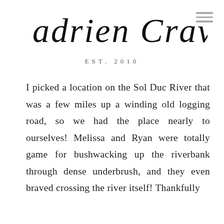Adrien Craven
EST. 2010
I picked a location on the Sol Duc River that was a few miles up a winding old logging road, so we had the place nearly to ourselves! Melissa and Ryan were totally game for bushwacking up the riverbank through dense underbrush, and they even braved crossing the river itself! Thankfully